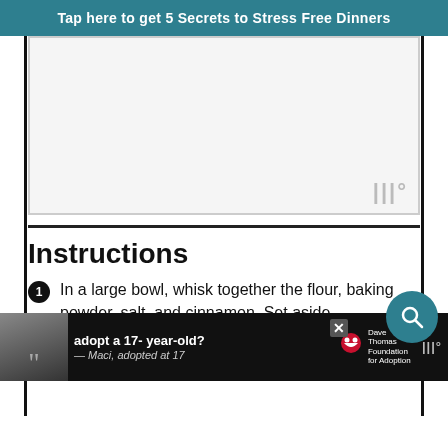Tap here to get 5 Secrets to Stress Free Dinners
[Figure (other): Blank placeholder image area with a watermark logo in the bottom right corner]
Instructions
In a large bowl, whisk together the flour, baking powder, salt, and cinnamon. Set aside.
With your mixer on medium, mix together the butter and sugar until light and fluffy.
[Figure (infographic): Bottom advertisement bar: adopt a 17-year-old? — Maci, adopted at 17. Dave Thomas Foundation for Adoption logo.]